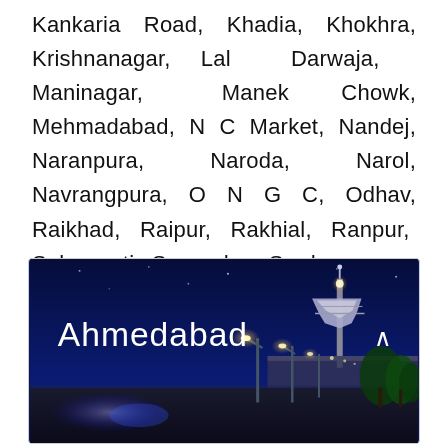Kankaria Road, Khadia, Khokhra, Krishnanagar, Lal Darwaja, Maninagar, Manek Chowk, Mehmadabad, N C Market, Nandej, Naranpura, Naroda, Narol, Navrangpura, O N G C, Odhav, Raikhad, Raipur, Rakhial, Ranpur, Sabarmati, Sanand, Sardarnagar, Sarkhej, Thakkar Bapanagar, Vadaj, Valad, Vastral, Vatva Jasodanagar, Viramgam and every other area.
[Figure (photo): Nighttime photograph of Ahmedabad city showing a lit-up road with street lamps, a water tower or observation tower in the background, and trees. The text 'Ahmedabad' is overlaid in white on the dark blue night sky.]